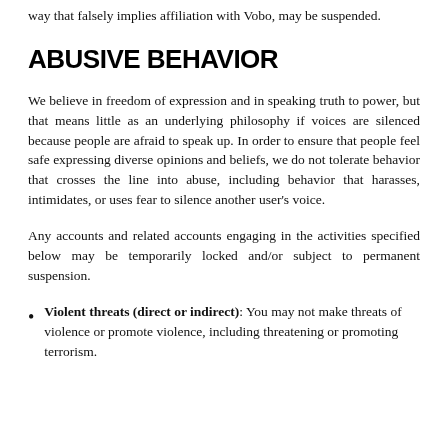way that falsely implies affiliation with Vobo, may be suspended.
ABUSIVE BEHAVIOR
We believe in freedom of expression and in speaking truth to power, but that means little as an underlying philosophy if voices are silenced because people are afraid to speak up. In order to ensure that people feel safe expressing diverse opinions and beliefs, we do not tolerate behavior that crosses the line into abuse, including behavior that harasses, intimidates, or uses fear to silence another user's voice.
Any accounts and related accounts engaging in the activities specified below may be temporarily locked and/or subject to permanent suspension.
Violent threats (direct or indirect): You may not make threats of violence or promote violence, including threatening or promoting terrorism.